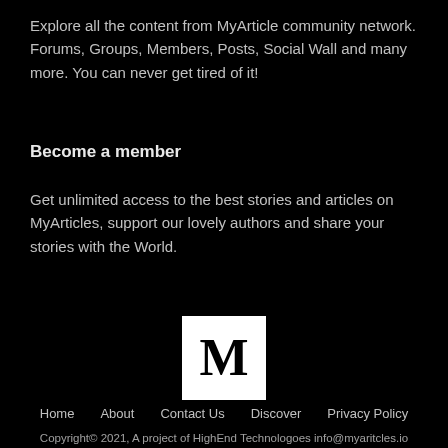Explore all the content from MyArticle community network. Forums, Groups, Members, Posts, Social Wall and many more. You can never get tired of it!
Become a member
Get unlimited access to the best stories and articles on MyArticles, support our lovely authors and share your stories with the World.
[Figure (logo): White square logo with large black serif letter M]
Home   About   Contact Us   Discover   Privacy Policy
Copyright© 2021, A project of HighEnd Technologoes info@myaritcles.io